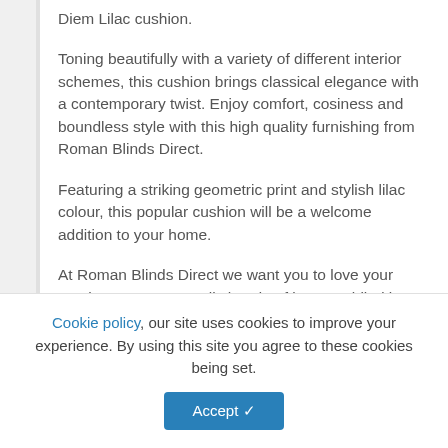Diem Lilac cushion.
Toning beautifully with a variety of different interior schemes, this cushion brings classical elegance with a contemporary twist. Enjoy comfort, cosiness and boundless style with this high quality furnishing from Roman Blinds Direct.
Featuring a striking geometric print and stylish lilac colour, this popular cushion will be a welcome addition to your home.
At Roman Blinds Direct we want you to love your purchase. By personally handcrafting your blind in-house, we accomplish the very best in quality and
Cookie policy, our site uses cookies to improve your experience. By using this site you agree to these cookies being set.